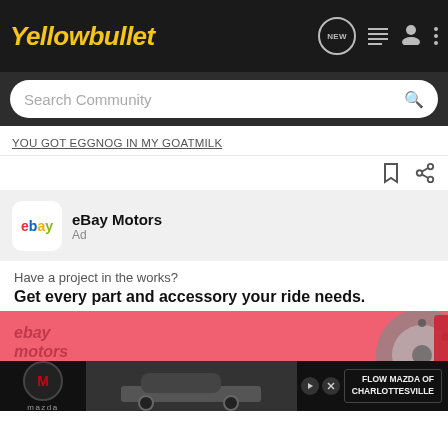Yellowbullet
Search Community
YOU GOT EGGNOG IN MY GOATMILK
[Figure (screenshot): eBay Motors advertisement section showing eBay Motors logo, Ad label, taglines 'Have a project in the works?' and 'Get every part and accessory your ride needs.' with a pink/red background image showing eBay Motors branding and a brake disc. Below is a Mazda ad overlay reading 'FLOW MAZDA OF CHARLOTTESVILLE'.]